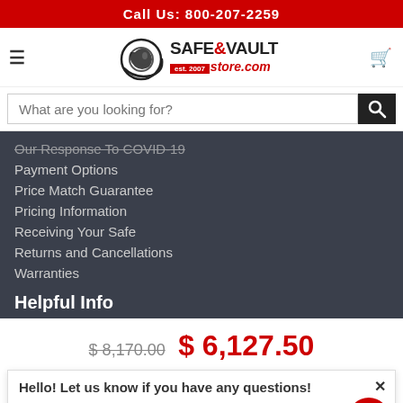Call Us: 800-207-2259
[Figure (logo): Safe & Vault Store logo with circular eye/safe icon, text SAFE&VAULT est.2007 store.com]
Our Response To COVID-19
Payment Options
Price Match Guarantee
Pricing Information
Receiving Your Safe
Returns and Cancellations
Warranties
Helpful Info
$ 8,170.00  $ 6,127.50
Hello! Let us know if you have any questions!
Your browser tracking. Use cross-site tracking to tailor ads to you. Learn more or opt out of this AdRoll tracking by clicking here. This message only appears once.